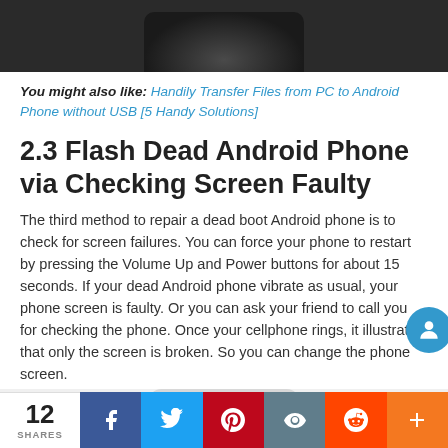[Figure (photo): Top portion of a dark-colored Android phone against a dark background]
You might also like: Handily Transfer Files from PC to Android Phone without USB [5 Handy Solutions]
2.3 Flash Dead Android Phone via Checking Screen Faulty
The third method to repair a dead boot Android phone is to check for screen failures. You can force your phone to restart by pressing the Volume Up and Power buttons for about 15 seconds. If your dead Android phone vibrate as usual, your phone screen is faulty. Or you can ask your friend to call you for checking the phone. Once your cellphone rings, it illustrates that only the screen is broken. So you can change the phone screen.
[Figure (photo): Bottom portion of a phone visible at the lower edge of the page]
12 SHARES | Facebook | Twitter | Pinterest | Views | Reddit | More